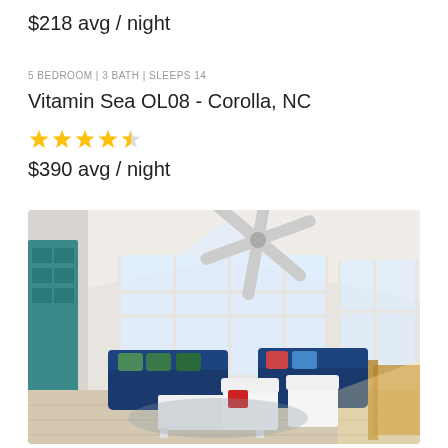$218 avg / night
5 BEDROOM | 3 BATH | SLEEPS 14
Vitamin Sea OL08 - Corolla, NC
[Figure (infographic): 4.5 star rating shown as yellow stars]
$390 avg / night
[Figure (photo): Interior living room photo of a bright beach house with vaulted ceilings, ceiling fan, blue sofas, white Adirondack chairs, and large windows. Teal bookshelf visible on the left side.]